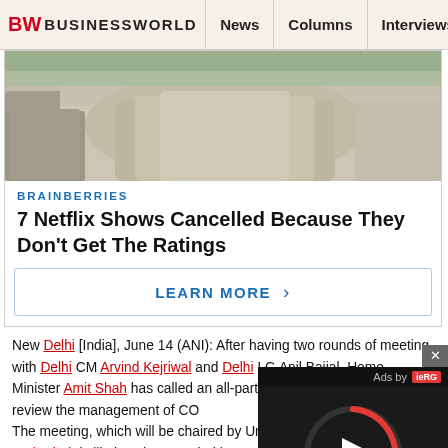BW BUSINESSWORLD | News | Columns | Interviews | BW
[Figure (photo): Partial photo showing people sitting outdoors, cropped — part of a Brainberries advertisement card]
BRAINBERRIES
7 Netflix Shows Cancelled Because They Don't Get The Ratings
LEARN MORE ›
New Delhi [India], June 14 (ANI): After having two rounds of meeting with Delhi CM Arvind Kejriwal and Delhi LG Anil Baijal, Home Minister Amit Shah has called an all-party meeting on Monday to review the management of COVID-19 in Delhi. The meeting, which will be chaired by Union Home Minister Amit Shah is likely to be attended by representatives of BJP, BSP, AAP, Delhi Congress apart from officials of the Delhi government and Centre. "Union Home Minister will hold an all-party meeting to review
[Figure (other): Video player overlay with circular play button and 'Ads by' label with red logo in bottom right corner]